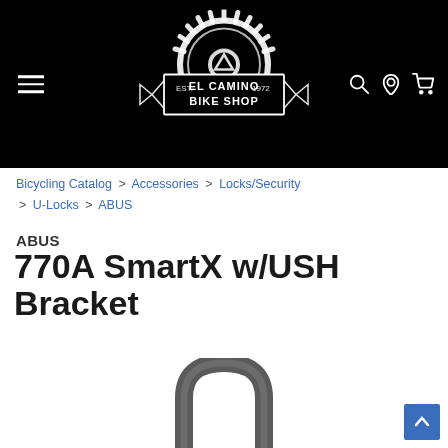[Figure (logo): El Camino Bike Shop logo — white gear/cog icon with banner reading 'EL CAMINO BIKE SHOP EST. 1972' on black background]
Bicycling Catalog > Accessories > Locks/Security > U-Locks > ABUS
ABUS
770A SmartX w/USH Bracket
[Figure (photo): Partial view of an ABUS U-lock showing the grey arch/shackle portion of the lock against white background]